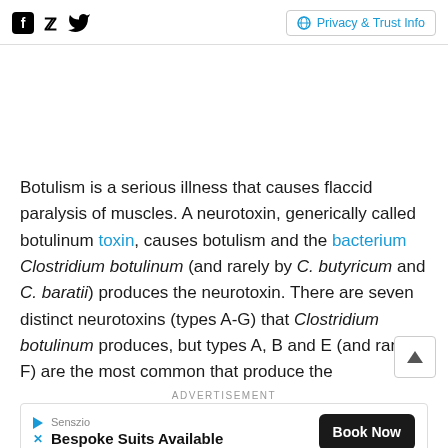Social icons: Facebook, Twitter | Privacy & Trust Info
Botulism is a serious illness that causes flaccid paralysis of muscles. A neurotoxin, generically called botulinum toxin, causes botulism and the bacterium Clostridium botulinum (and rarely by C. butyricum and C. baratii) produces the neurotoxin. There are seven distinct neurotoxins (types A-G) that Clostridium botulinum produces, but types A, B and E (and rarely F) are the most common that produce the
ADVERTISEMENT
Senszio
Bespoke Suits Available | Book Now